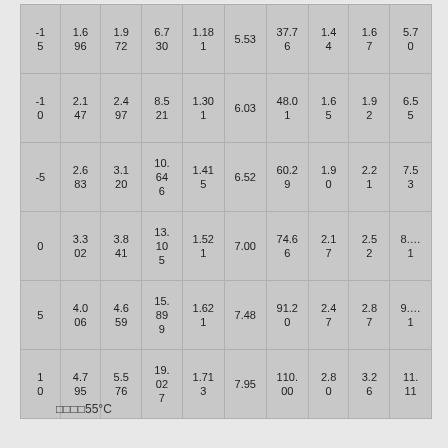| -15 | 1.696 | 1.972 | 6.730 | 1.181 | 5.53 | 37.76 | 1.44 | 1.67 | 5.70 |
| -10 | 2.147 | 2.497 | 8.521 | 1.301 | 6.03 | 48.01 | 1.65 | 1.92 | 6.55 |
| -5 | 2.683 | 3.120 | 10.646 | 1.415 | 6.52 | 60.29 | 1.90 | 2.21 | 7.53 |
| 0 | 3.302 | 3.841 | 13.105 | 1.521 | 7.00 | 74.66 | 2.17 | 2.52 | 8.…1 |
| 5 | 4.006 | 4.659 | 15.899 | 1.621 | 7.48 | 91.20 | 2.47 | 2.87 | 9.…1 |
| 10 | 4.795 | 5.576 | 19.027 | 1.713 | 7.95 | 110.00 | 2.80 | 3.26 | 11.11 |
□□□□55°C